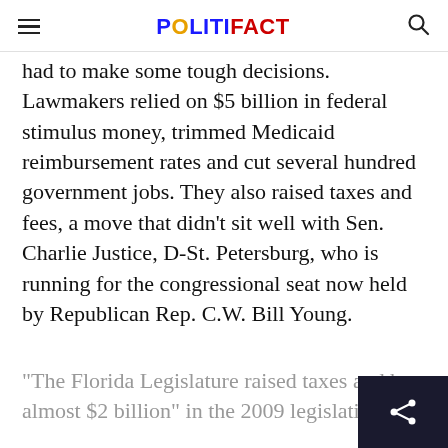POLITIFACT
had to make some tough decisions. Lawmakers relied on $5 billion in federal stimulus money, trimmed Medicaid reimbursement rates and cut several hundred government jobs. They also raised taxes and fees, a move that didn't sit well with Sen. Charlie Justice, D-St. Petersburg, who is running for the congressional seat now held by Republican Rep. C.W. Bill Young.
"The Florida Legislature raised taxes and by almost $2 billion" in the 2009 legislative